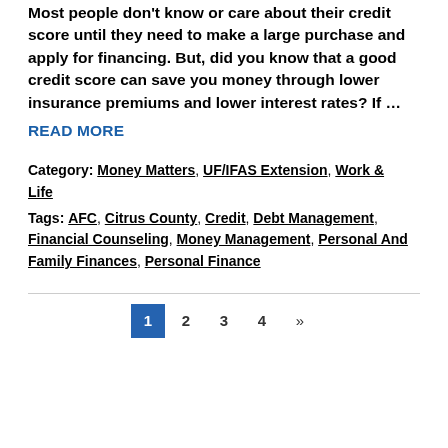Most people don't know or care about their credit score until they need to make a large purchase and apply for financing. But, did you know that a good credit score can save you money through lower insurance premiums and lower interest rates? If …
READ MORE
Category: Money Matters, UF/IFAS Extension, Work & Life
Tags: AFC, Citrus County, Credit, Debt Management, Financial Counseling, Money Management, Personal And Family Finances, Personal Finance
1 2 3 4 »